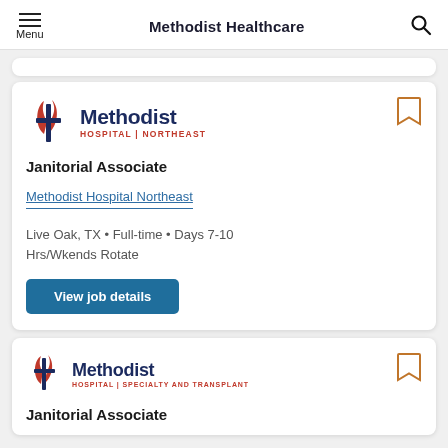Methodist Healthcare
[Figure (logo): Methodist Hospital Northeast logo with cross and flame icon]
Janitorial Associate
Methodist Hospital Northeast
Live Oak, TX • Full-time • Days 7-10 Hrs/Wkends Rotate
View job details
[Figure (logo): Methodist Hospital Specialty and Transplant logo with cross and flame icon]
Janitorial Associate